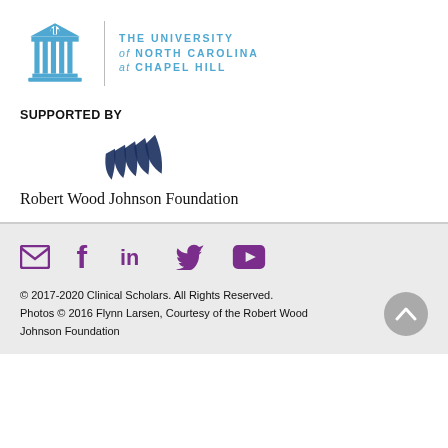[Figure (logo): UNC Chapel Hill logo: blue rotunda/columns icon with text 'THE UNIVERSITY of NORTH CAROLINA at CHAPEL HILL' in blue]
SUPPORTED BY
[Figure (logo): Robert Wood Johnson Foundation logo: dark blue stylized wing/bird mark above the text 'Robert Wood Johnson Foundation']
[Figure (infographic): Social media icons: email envelope, Facebook, LinkedIn, Twitter/bird, YouTube play button — all in purple]
© 2017-2020 Clinical Scholars. All Rights Reserved. Photos © 2016 Flynn Larsen, Courtesy of the Robert Wood Johnson Foundation